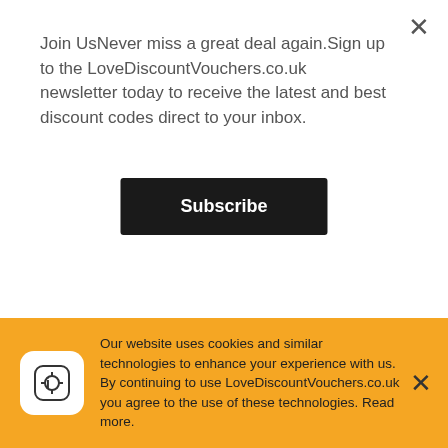Join UsNever miss a great deal again.Sign up to the LoveDiscountVouchers.co.uk newsletter today to receive the latest and best discount codes direct to your inbox.
Subscribe
[Figure (logo): NOTINO logo - white text on black background]
NOTINO
View 19 offers
[Figure (logo): Tommy Hilfiger logo with flag design]
Tommy Hilfiger
View 20 offers
[Figure (logo): Partial store logo at bottom, white with border]
Our website uses cookies and similar technologies to enhance your experience with us. By continuing to use LoveDiscountVouchers.co.uk you agree to the use of these technologies. Read more.